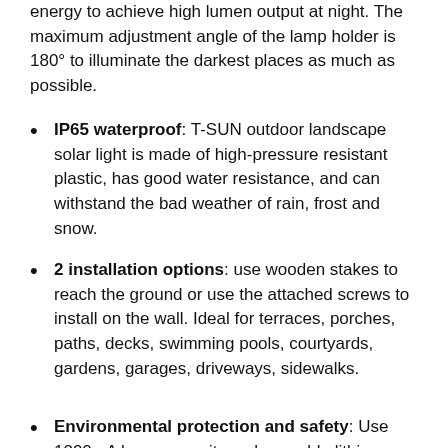energy to achieve high lumen output at night. The maximum adjustment angle of the lamp holder is 180° to illuminate the darkest places as much as possible.
IP65 waterproof: T-SUN outdoor landscape solar light is made of high-pressure resistant plastic, has good water resistance, and can withstand the bad weather of rain, frost and snow.
2 installation options: use wooden stakes to reach the ground or use the attached screws to install on the wall. Ideal for terraces, porches, paths, decks, swimming pools, courtyards, gardens, garages, driveways, sidewalks.
Environmental protection and safety: Use 1200mA large capacity rechargeable lithium battery.